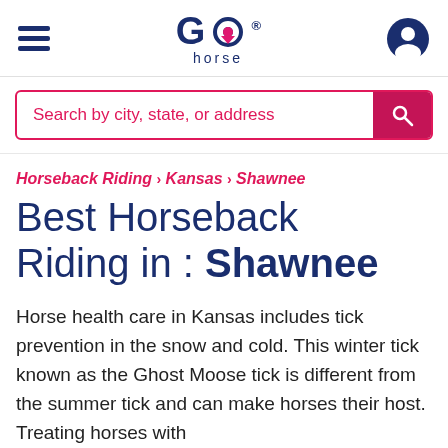GO horse [logo with hamburger menu and user icon]
Search by city, state, or address
Horseback Riding › Kansas › Shawnee
Best Horseback Riding in : Shawnee
Horse health care in Kansas includes tick prevention in the snow and cold. This winter tick known as the Ghost Moose tick is different from the summer tick and can make horses their host. Treating horses with